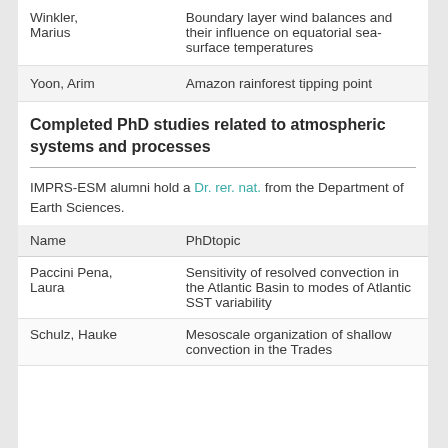| Name | PhD topic |
| --- | --- |
| Winkler, Marius | Boundary layer wind balances and their influence on equatorial sea-surface temperatures |
| Yoon, Arim | Amazon rainforest tipping point |
Completed PhD studies related to atmospheric systems and processes
IMPRS-ESM alumni hold a Dr. rer. nat. from the Department of Earth Sciences.
| Name | PhDtopic |
| --- | --- |
| Paccini Pena, Laura | Sensitivity of resolved convection in the Atlantic Basin to modes of Atlantic SST variability |
| Schulz, Hauke | Mesoscale organization of shallow convection in the Trades |